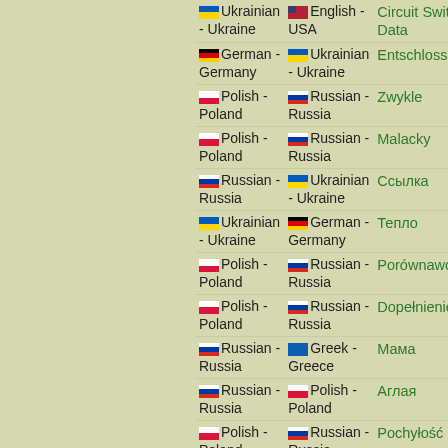| From | To | Term |
| --- | --- | --- |
| Ukrainian - Ukraine | English - USA | Circuit Switch Data |
| German - Germany | Ukrainian - Ukraine | Entschlossen |
| Polish - Poland | Russian - Russia | Zwykle |
| Polish - Poland | Russian - Russia | Malacky |
| Russian - Russia | Ukrainian - Ukraine | Ссылка |
| Ukrainian - Ukraine | German - Germany | Тепло |
| Polish - Poland | Russian - Russia | Porównawcza |
| Polish - Poland | Russian - Russia | Dopełnienie |
| Russian - Russia | Greek - Greece | Мама |
| Russian - Russia | Polish - Poland | Аглая |
| Polish - Poland | Russian - Russia | Pochyłość |
| Russian - Russia | Ukrainian - Ukraine | Предприяти |